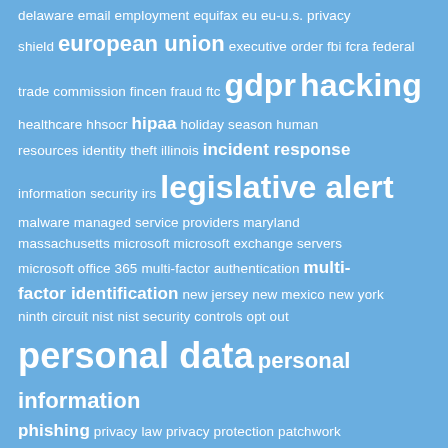[Figure (infographic): Tag cloud / word cloud on a blue background. Terms related to privacy, cybersecurity, and legal regulations displayed in varying font sizes indicating frequency/importance. White text on blue background. Terms include: delaware, email, employment, equifax, eu, eu-u.s. privacy shield, european union, executive order, fbi, fcra, federal trade commission, fincen, fraud, ftc, gdpr, hacking, healthcare, hhsocr, hipaa, holiday season, human resources, identity theft, illinois, incident response, information security, irs, legislative alert, malware, managed service providers, maryland, massachusetts, microsoft, microsoft exchange servers, microsoft office 365, multi-factor authentication, multi-factor identification, new jersey, new mexico, new york, ninth circuit, nist, nist security controls, opt out, personal data, personal information, phishing, privacy law, privacy protection patchwork, protected health information, ransomware, regulations, reporting requirements, russia ukraine conflict, social engineering, social media, statute, strengthening american cybersecurity act, supreme court, tax returns]